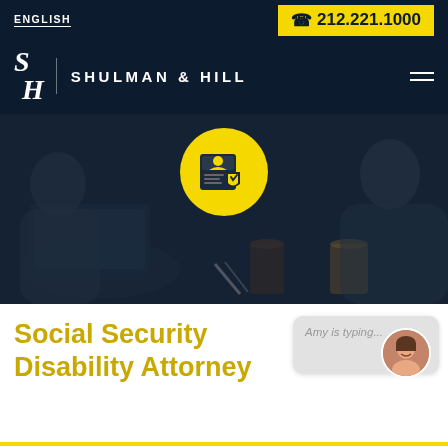ENGLISH
212.221.1000
SHULMAN & HILL
[Figure (logo): Shulman & Hill law firm logo with stylized S-H letters and firm name]
[Figure (photo): Hero banner showing person at desk in muted dark overlay with yellow circle icon featuring a person/ID card with shield emblem]
Social Security Disability Attorney
[Figure (screenshot): Chat widget with Amy is typing... message and avatar of smiling woman]